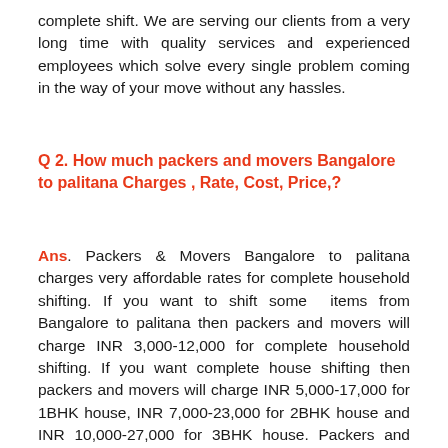complete shift. We are serving our clients from a very long time with quality services and experienced employees which solve every single problem coming in the way of your move without any hassles.
Q 2. How much packers and movers Bangalore to palitana Charges , Rate, Cost, Price,?
Ans. Packers & Movers Bangalore to palitana charges very affordable rates for complete household shifting. If you want to shift some items from Bangalore to palitana then packers and movers will charge INR 3,000-12,000 for complete household shifting. If you want complete house shifting then packers and movers will charge INR 5,000-17,000 for 1BHK house, INR 7,000-23,000 for 2BHK house and INR 10,000-27,000 for 3BHK house. Packers and movers will charge extra for Home shifting between INR 7,000-10,000